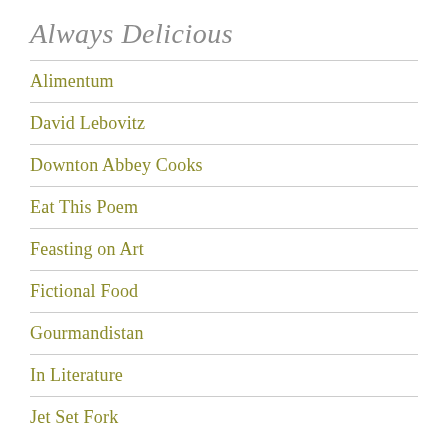Always Delicious
Alimentum
David Lebovitz
Downton Abbey Cooks
Eat This Poem
Feasting on Art
Fictional Food
Gourmandistan
In Literature
Jet Set Fork